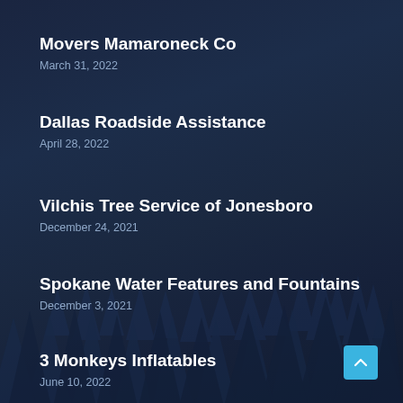Movers Mamaroneck Co
March 31, 2022
Dallas Roadside Assistance
April 28, 2022
Vilchis Tree Service of Jonesboro
December 24, 2021
Spokane Water Features and Fountains
December 3, 2021
3 Monkeys Inflatables
June 10, 2022